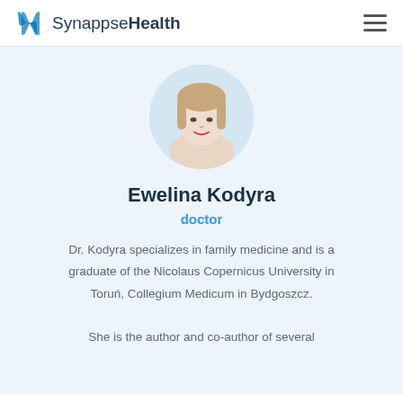[Figure (logo): SynappseHealth logo with blue stylized H icon and text 'SynappseHealth']
[Figure (photo): Circular profile photo of Ewelina Kodyra, a blonde woman]
Ewelina Kodyra
doctor
Dr. Kodyra specializes in family medicine and is a graduate of the Nicolaus Copernicus University in Toruń, Collegium Medicum in Bydgoszcz. She is the author and co-author of several